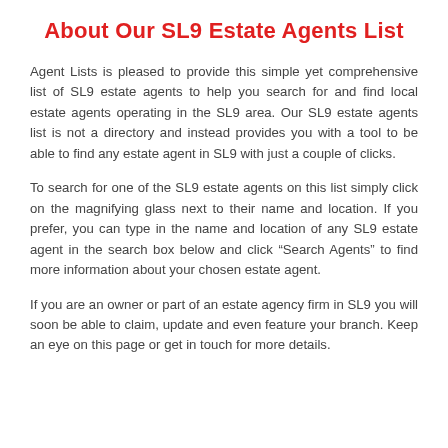About Our SL9 Estate Agents List
Agent Lists is pleased to provide this simple yet comprehensive list of SL9 estate agents to help you search for and find local estate agents operating in the SL9 area. Our SL9 estate agents list is not a directory and instead provides you with a tool to be able to find any estate agent in SL9 with just a couple of clicks.
To search for one of the SL9 estate agents on this list simply click on the magnifying glass next to their name and location. If you prefer, you can type in the name and location of any SL9 estate agent in the search box below and click “Search Agents” to find more information about your chosen estate agent.
If you are an owner or part of an estate agency firm in SL9 you will soon be able to claim, update and even feature your branch. Keep an eye on this page or get in touch for more details.